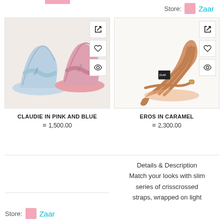Store: Zaar
[Figure (photo): Two ruched strap sandals in pink and light blue color displayed flat on a white surface]
[Figure (photo): A caramel-colored strappy block heel sandal on white background]
CLAUDIE IN PINK AND BLUE
1,500.00
EROS IN CARAMEL
2,300.00
Details & Description Match your looks with slim series of crisscrossed straps, wrapped on light
Store: Zaar